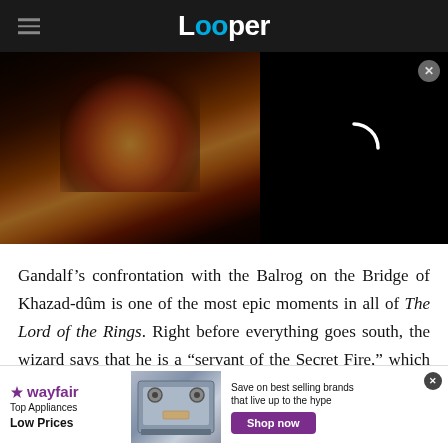Looper
[Figure (screenshot): Video player showing a dark scene with fire/explosion on the left half and a black loading screen with a white spinner arc on the right half. A close button is in the upper right corner.]
Gandalf’s confrontation with the Balrog on the Bridge of Khazad-dûm is one of the most epic moments in all of The Lord of the Rings. Right before everything goes south, the wizard says that he is a "servant of the Secret Fire," which has led to
[Figure (other): Wayfair advertisement banner: Top Appliances Low Prices, Save on best selling brands that live up to the hype, Shop now button]